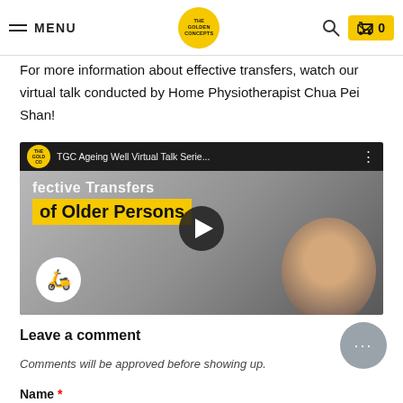MENU | THE GOLDEN CONCEPTS | 0
For more information about effective transfers, watch our virtual talk conducted by Home Physiotherapist Chua Pei Shan!
[Figure (screenshot): YouTube video thumbnail for TGC Ageing Well Virtual Talk Series - Effective Transfers of Older Persons, showing a living room background with a play button, a presenter's face on the right, and a scooter icon on the bottom left.]
Leave a comment
Comments will be approved before showing up.
Name *